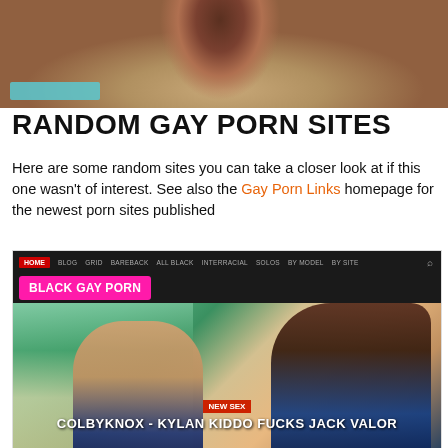[Figure (photo): Close-up photo of a person's torso/groin area with blue swimwear strap visible]
RANDOM GAY PORN SITES
Here are some random sites you can take a closer look at if this one wasn't of interest. See also the Gay Porn Links homepage for the newest porn sites published
[Figure (screenshot): Screenshot of 'Black Gay Porn' website showing navigation bar and a photo of two men by a pool with title 'COLBYKNOX - KYLAN KIDDO FUCKS JACK VALOR']